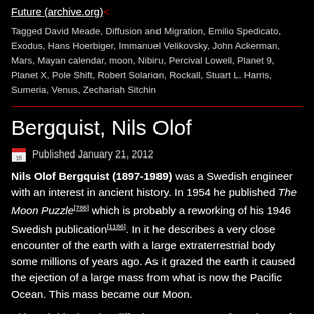Future (archive.org)<
Tagged David Meade, Diffusion and Migration, Emilio Spedicato, Exodus, Hans Hoerbiger, Immanuel Velikovsky, John Ackerman, Mars, Mayan calendar, moon, Nibiru, Percival Lowell, Planet 9, Planet X, Pole Shift, Robert Solarion, Rockall, Stuart L. Harris, Sumeria, Venus, Zechariah Sitchin
Bergquist, Nils Olof
Published January 21, 2012
Nils Olof Bergquist (1897-1989) was a Swedish engineer with an interest in ancient history. In 1954 he published The Moon Puzzle[786] which is probably a reworking of his 1946 Swedish publication[1186]. In it he describes a very close encounter of the earth with a large extraterrestrial body some millions of years ago. As it grazed the earth it caused the ejection of a large mass from what is now the Pacific Ocean. This mass became our Moon.
Although his theories differ in many respects from those of Hörbiger, Bergquist never once referred to Hörbiger's